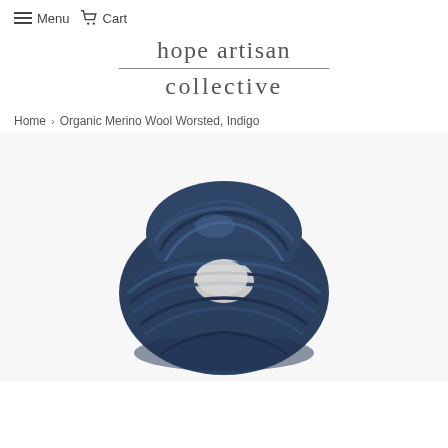≡ Menu 🛒 Cart
hope artisan collective
Home › Organic Merino Wool Worsted, Indigo
[Figure (photo): A skein of indigo-dyed organic merino wool worsted weight yarn, twisted into a hank shape, photographed on a white background. The yarn is a deep navy/indigo blue color with slight variation in tone.]